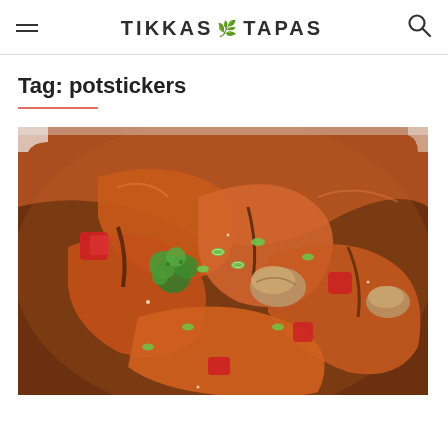TIKKAS & TAPAS
Tag: potstickers
[Figure (photo): Close-up photo of potstickers stir-fry dish with broccoli, red peppers, mushrooms, green onions, and dark sauce in a white bowl]